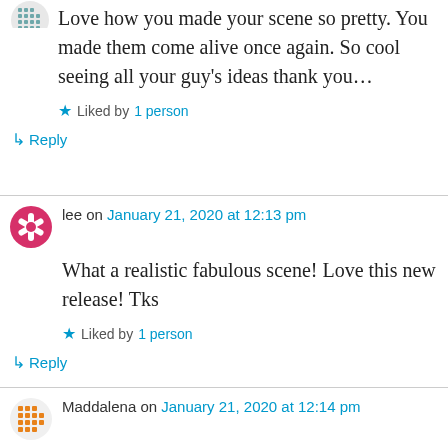[Figure (other): User avatar icon - dotted/checkered circular pattern in teal/grey]
Love how you made your scene so pretty. You made them come alive once again. So cool seeing all your guy's ideas thank you…
★ Liked by 1 person
↳ Reply
[Figure (other): User avatar icon - red/pink asterisk-like pattern]
lee on January 21, 2020 at 12:13 pm
What a realistic fabulous scene! Love this new release! Tks
★ Liked by 1 person
↳ Reply
[Figure (other): User avatar icon - orange dotted/checkered circular pattern]
Maddalena on January 21, 2020 at 12:14 pm